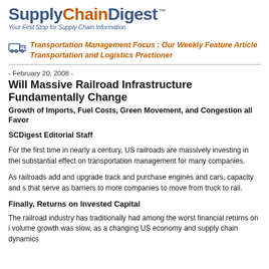[Figure (logo): SupplyChainDigest logo with tagline 'Your First Stop for Supply Chain Information']
Transportation Management Focus : Our Weekly Feature Article for the Transportation and Logistics Practioner
- February 20, 2008 -
Will Massive Railroad Infrastructure Fundamentally Change...
Growth of Imports, Fuel Costs, Green Movement, and Congestion all Favor...
SCDigest Editorial Staff
For the first time in nearly a century, US railroads are massively investing in their... substantial effect on transportation management for many companies.
As railroads add and upgrade track and purchase engines and cars, capacity and s... that serve as barriers to more companies to move from truck to rail.
Finally, Returns on Invested Capital
The railroad industry has traditionally had among the worst financial returns on i... volume growth was slow, as a changing US economy and supply chain dynamics...